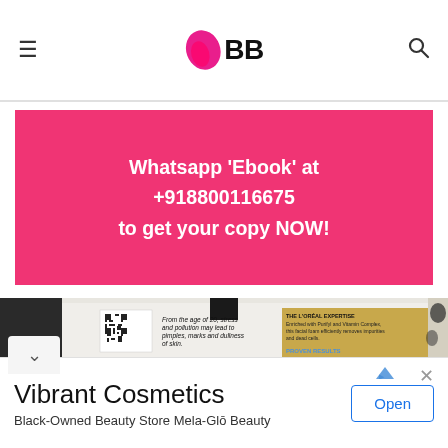IMBB — hamburger menu and search icon
[Figure (infographic): Pink banner advertisement: Whatsapp 'Ebook' at +918800116675 to get your copy NOW!]
Whatsapp 'Ebook' at +918800116675 to get your copy NOW!
[Figure (photo): L'Oreal facial foam product tube close-up showing QR code, text reading 'From the age of 20, stress and pollution may lead to pimples, marks and dullness of skin.' and gold panel with 'THE L'OREAL EXPERTISE: Enriched with Purifyl and Vitamin Complex, this facial foam efficiently removes impurities and dead cells.' and 'PROVEN RESULTS']
Vibrant Cosmetics
Black-Owned Beauty Store Mela-Glō Beauty